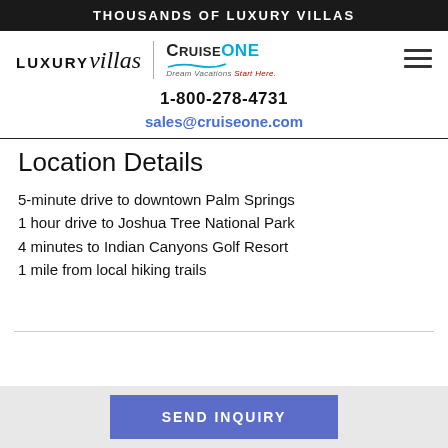THOUSANDS OF LUXURY VILLAS
[Figure (logo): LUXURYvillas | CruiseOne Dream Vacations Start Here logo with hamburger menu icon]
1-800-278-4731
sales@cruiseone.com
Location Details
5-minute drive to downtown Palm Springs
1 hour drive to Joshua Tree National Park
4 minutes to Indian Canyons Golf Resort
1 mile from local hiking trails
SEND INQUIRY